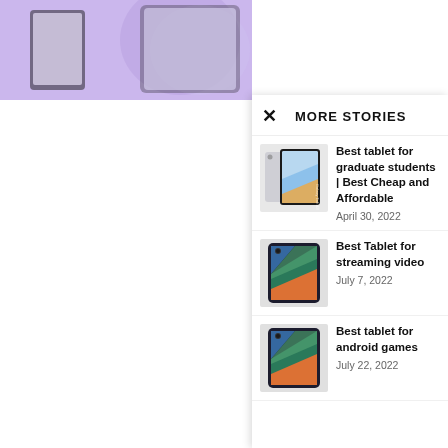[Figure (screenshot): Partial background page showing top portion of a tablet device image with purple/lavender background]
Best Affo inspecto
Pure power, 2k the Xiaomi Pac tasks, including boasts of keep inside .
MORE STORIES
[Figure (photo): Samsung Galaxy Tab A8 tablet product image, silver/white color]
Best tablet for graduate students | Best Cheap and Affordable
April 30, 2022
[Figure (photo): Dark colored tablet showing colorful abstract wallpaper (green, orange, blue)]
Best Tablet for streaming video
July 7, 2022
[Figure (photo): Dark colored tablet showing colorful abstract wallpaper (green, orange, blue)]
Best tablet for android games
July 22, 2022